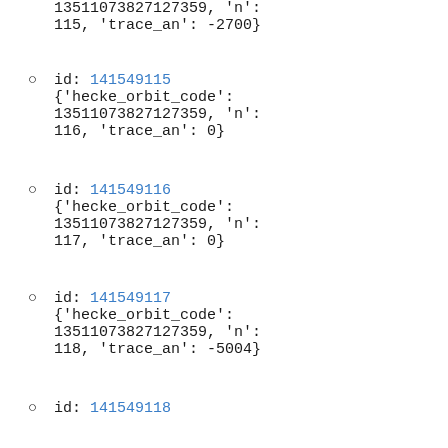13511073827127359, 'n': 115, 'trace_an': -2700}
id: 141549115 {'hecke_orbit_code': 13511073827127359, 'n': 116, 'trace_an': 0}
id: 141549116 {'hecke_orbit_code': 13511073827127359, 'n': 117, 'trace_an': 0}
id: 141549117 {'hecke_orbit_code': 13511073827127359, 'n': 118, 'trace_an': -5004}
id: 141549118 {'hecke_orbit_code': 13511073827127359, 'n': 119, 'trace_an': 0}
id: 141549119 {'hecke_orbit_code': 13511073827127359, 'n':